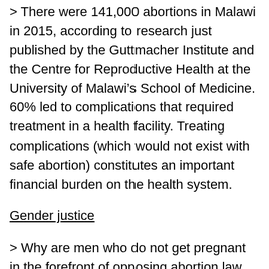> There were 141,000 abortions in Malawi in 2015, according to research just published by the Guttmacher Institute and the Centre for Reproductive Health at the University of Malawi's School of Medicine. 60% led to complications that required treatment in a health facility. Treating complications (which would not exist with safe abortion) constitutes an important financial burden on the health system.
Gender justice
> Why are men who do not get pregnant in the forefront of opposing abortion law reform. Making laws that govern the wombs of women when there are no laws that govern the anatomies of men is a human rights violation. Brian Ligomeka, Centre for Solutions Journalism.
> One in every 20 girls aged 15 is dying unnecessarily...